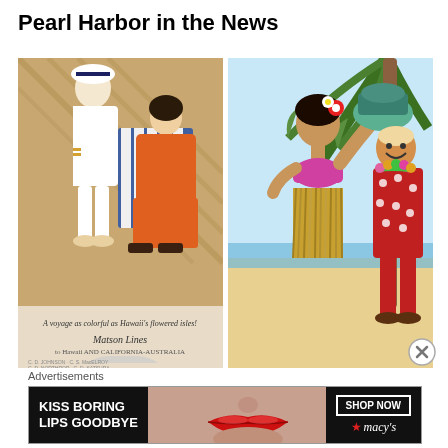Pearl Harbor in the News
[Figure (illustration): Vintage illustration of a naval officer in white uniform leaning over a woman in an orange dress sitting in a deck chair on a wooden deck. Bottom caption reads 'A voyage as colorful as Hawaii's flowered isles!' with Matson Lines branding.]
[Figure (illustration): Colorful cartoon illustration of a Hawaiian hula girl in a pink bikini with flowers in her hair holding a hat, standing next to a tourist man in a red Hawaiian shirt with a lei, on a beach with palm trees.]
Advertisements
[Figure (photo): Advertisement banner with black background showing the text 'KISS BORING LIPS GOODBYE' in white bold text on the left, a close-up photo of a woman's face with red lips in the center, and 'SHOP NOW' button with Macy's star logo on the right.]